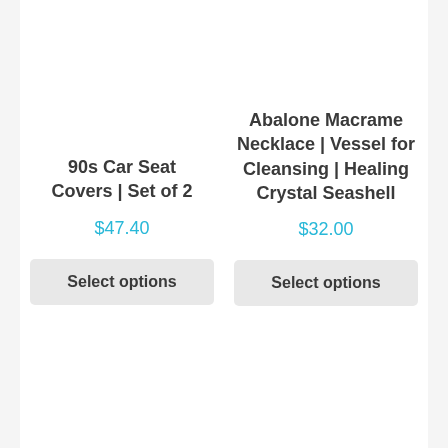90s Car Seat Covers | Set of 2
$47.40
Select options
Abalone Macrame Necklace | Vessel for Cleansing | Healing Crystal Seashell
$32.00
Select options